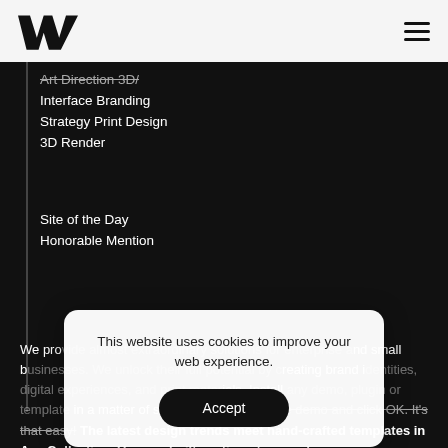W (logo) | hamburger menu
Art Direction 3D/
Interface Branding
Strategy Print Design
3D Render
Site of the Day
Honorable Mention
We provide almost extraordinary solutions for enterprise and small businesses. We unlock their full potential by creating brand identities, digital experiences, and print materials. Install any demo, plugin or template in a matter of seconds. Just select the demo and click OK. It's that easy! The latest design trends meet hand-crafted templates in Ave Collection. Use pre-built sections to speed up your
This website uses cookies to improve your web experience.
Accept